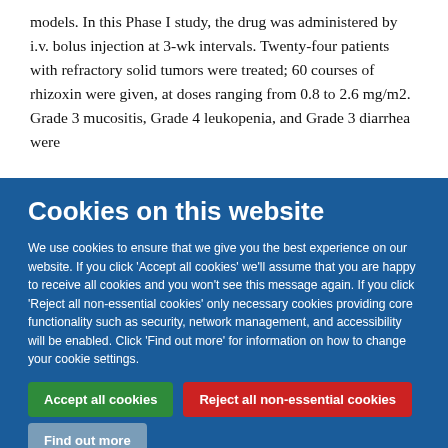models. In this Phase I study, the drug was administered by i.v. bolus injection at 3-wk intervals. Twenty-four patients with refractory solid tumors were treated; 60 courses of rhizoxin were given, at doses ranging from 0.8 to 2.6 mg/m2. Grade 3 mucositis, Grade 4 leukopenia, and Grade 3 diarrhea were
Cookies on this website
We use cookies to ensure that we give you the best experience on our website. If you click 'Accept all cookies' we'll assume that you are happy to receive all cookies and you won't see this message again. If you click 'Reject all non-essential cookies' only necessary cookies providing core functionality such as security, network management, and accessibility will be enabled. Click 'Find out more' for information on how to change your cookie settings.